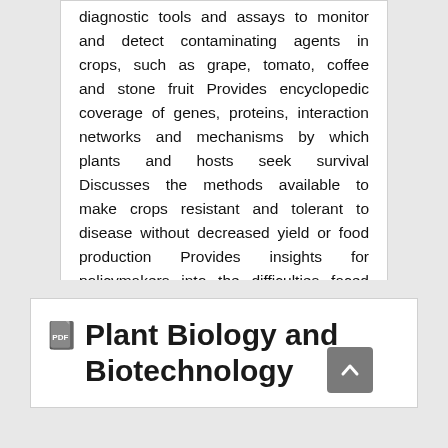diagnostic tools and assays to monitor and detect contaminating agents in crops, such as grape, tomato, coffee and stone fruit Provides encyclopedic coverage of genes, proteins, interaction networks and mechanisms by which plants and hosts seek survival Discusses the methods available to make crops resistant and tolerant to disease without decreased yield or food production Provides insights for policymakers into the difficulties faced by scientific researchers in the use of biotechnology intervention, transgenes and genetically modified sequences
Plant Biology and Biotechnology